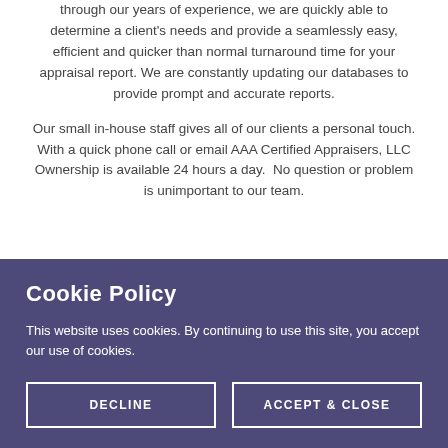through our years of experience, we are quickly able to determine a client's needs and provide a seamlessly easy, efficient and quicker than normal turnaround time for your appraisal report. We are constantly updating our databases to provide prompt and accurate reports.
Our small in-house staff gives all of our clients a personal touch. With a quick phone call or email AAA Certified Appraisers, LLC Ownership is available 24 hours a day.  No question or problem is unimportant to our team.
Cookie Policy
This website uses cookies. By continuing to use this site, you accept our use of cookies.
DECLINE
ACCEPT & CLOSE